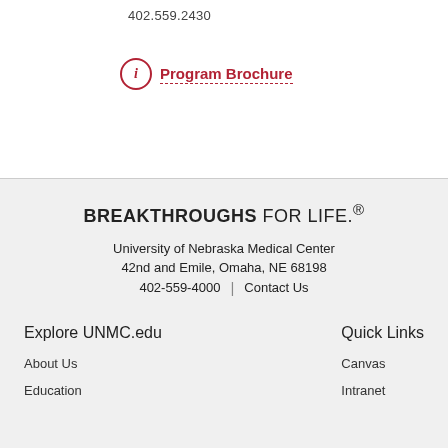402.559.2430
Program Brochure
BREAKTHROUGHS FOR LIFE.®
University of Nebraska Medical Center
42nd and Emile, Omaha, NE 68198
402-559-4000 | Contact Us
Explore UNMC.edu
About Us
Education
Quick Links
Canvas
Intranet